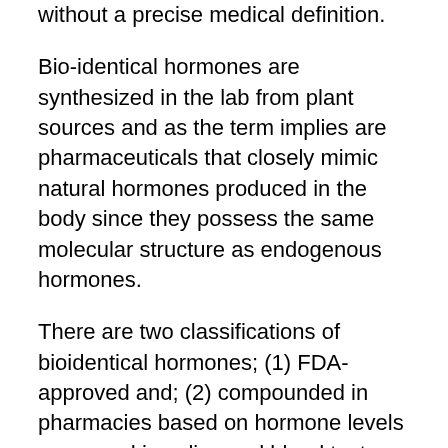without a precise medical definition.
Bio-identical hormones are synthesized in the lab from plant sources and as the term implies are pharmaceuticals that closely mimic natural hormones produced in the body since they possess the same molecular structure as endogenous hormones.
There are two classifications of bioidentical hormones; (1) FDA-approved and; (2) compounded in pharmacies based on hormone levels measured in saliva and blood tests (not FDA approved).
The terminology is confusing and the FDA considers “BHRT” to be a marketing term. The lack of distinction between FDA-approved bioidentical hormones (often referred to as synthetics) and compounded bioidentical hormones has resulted in considerable misunderstanding